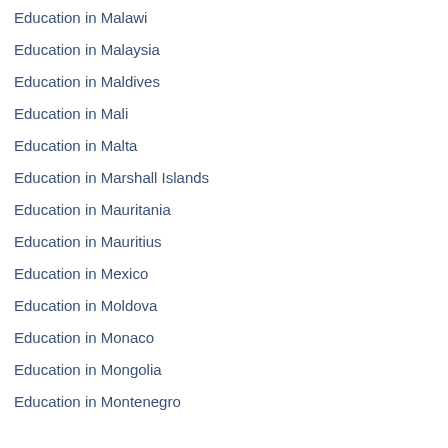Education in Malawi
Education in Malaysia
Education in Maldives
Education in Mali
Education in Malta
Education in Marshall Islands
Education in Mauritania
Education in Mauritius
Education in Mexico
Education in Moldova
Education in Monaco
Education in Mongolia
Education in Montenegro